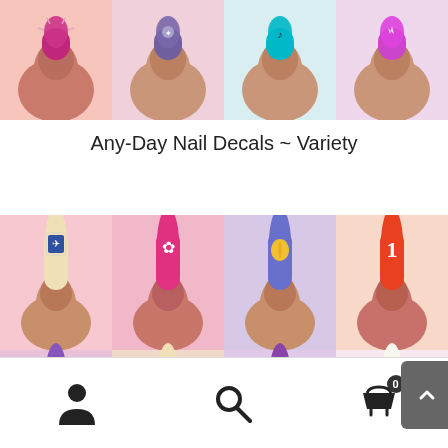[Figure (photo): Row of toes with decorative nail polish in various colors: magenta glitter, gray with design, teal with design, purple/magenta with white design]
Any-Day Nail Decals ~ Variety
[Figure (photo): 2x4 grid of toes with nail decals on pink background: top row - beige with blue decal, pink with white maple leaf, purple/blue with gold leaf, red/orange with number 1; bottom row - purple with teal design, beige with green anchor, purple with purple design, white with ONCE text]
User icon | Search icon | Cart icon with badge 0 | Expand icon